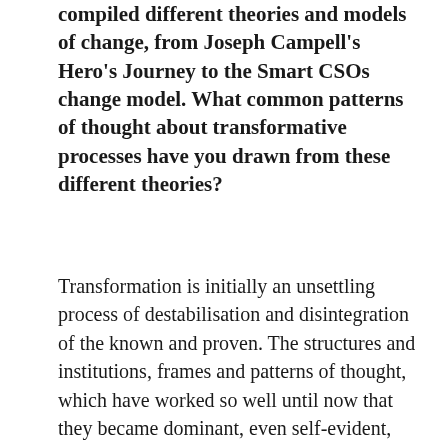compiled different theories and models of change, from Joseph Campell's Hero's Journey to the Smart CSOs change model. What common patterns of thought about transformative processes have you drawn from these different theories?
Transformation is initially an unsettling process of destabilisation and disintegration of the known and proven. The structures and institutions, frames and patterns of thought, which have worked so well until now that they became dominant, even self-evident, are no longer suitable. This process implies pain, internal and